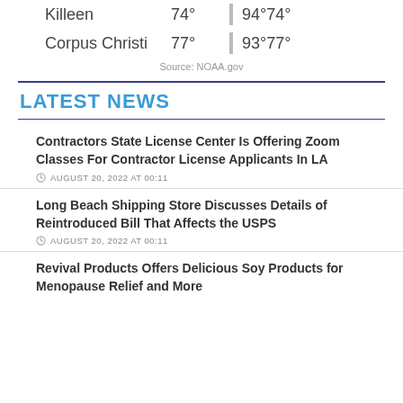| City | Current |  | High/Low |
| --- | --- | --- | --- |
| Killeen | 74° |  | 94°74° |
| Corpus Christi | 77° |  | 93°77° |
Source: NOAA.gov
LATEST NEWS
Contractors State License Center Is Offering Zoom Classes For Contractor License Applicants In LA
AUGUST 20, 2022 AT 00:11
Long Beach Shipping Store Discusses Details of Reintroduced Bill That Affects the USPS
AUGUST 20, 2022 AT 00:11
Revival Products Offers Delicious Soy Products for Menopause Relief and More